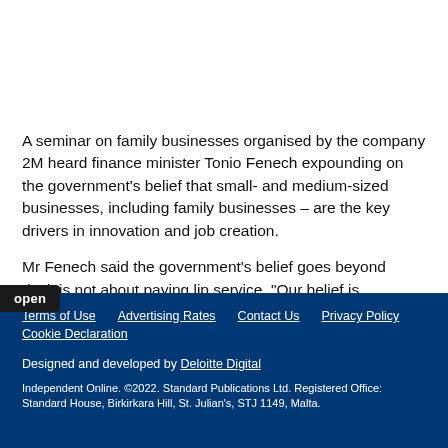A seminar on family businesses organised by the company 2M heard finance minister Tonio Fenech expounding on the government’s belief that small- and medium-sized businesses, including family businesses – are the key drivers in innovation and job creation.
Mr Fenech said the government’s belief goes beyond ric, it is not about paying lip service. “Our belief is
Terms of Use    Advertising Rates    Contact Us    Privacy Policy    Cookie Declaration

Designed and developed by Deloitte Digital

Independent Online. ©2022. Standard Publications Ltd. Registered Office: Standard House, Birkirkara Hill, St. Julian’s, STJ 1149, Malta.